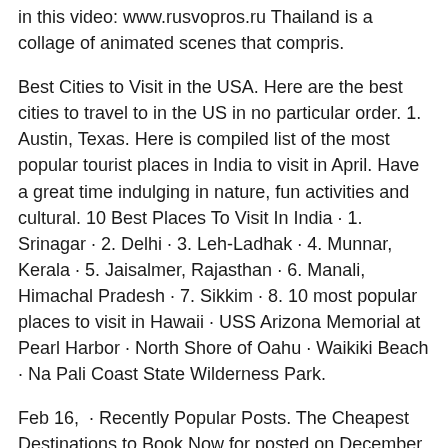in this video: www.rusvopros.ru Thailand is a collage of animated scenes that compris.
Best Cities to Visit in the USA. Here are the best cities to travel to in the US in no particular order. 1. Austin, Texas. Here is compiled list of the most popular tourist places in India to visit in April. Have a great time indulging in nature, fun activities and cultural. 10 Best Places To Visit In India · 1. Srinagar · 2. Delhi · 3. Leh-Ladhak · 4. Munnar, Kerala · 5. Jaisalmer, Rajasthan · 6. Manali, Himachal Pradesh · 7. Sikkim · 8. 10 most popular places to visit in Hawaii · USS Arizona Memorial at Pearl Harbor · North Shore of Oahu · Waikiki Beach · Na Pali Coast State Wilderness Park.
Feb 16,  · Recently Popular Posts. The Cheapest Destinations to Book Now for posted on December 7, ; Top 10 Amazing Destinations for a Graduation Trip in posted on May 23, ; 9 Best Cities to Visit in Europe This Summer posted on March 11, ; 11 Best Relaxing Destinations You Need to Visit in posted on May 3, ; 25 Best Places in . The top countries, cities and places to visit in as chosen by Lonely Planet's writers. With 30 suggestions on the list, there's a place waiting for you. January 10th, • 10 min read. A Lonely Planet contributor seeks out the